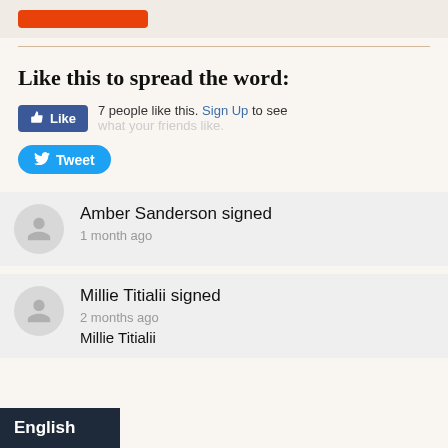[Figure (other): Orange button partially visible at top of page]
Like this to spread the word:
[Figure (other): Facebook Like button and Tweet button with social sharing text: 7 people like this. Sign Up to see what your friends like.]
Amber Sanderson signed
1 month ago
Millie Titialii signed
2 months ago
Millie Titialii
English